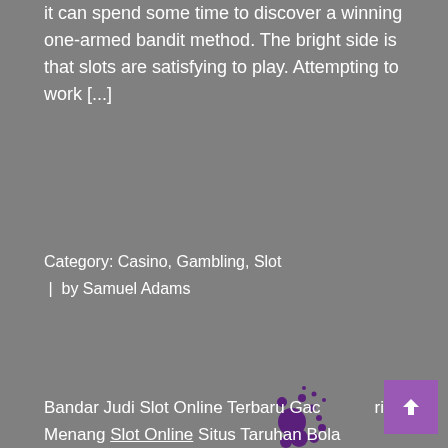it can spend some time to discover a winning one-armed bandit method. The bright side is that slots are satisfying to play. Attempting to work [...]
Category: Casino, Gambling, Slot | by Samuel Adams
[Figure (other): Pagination bar with page numbers 1 (active/highlighted in yellow), 2, 3, 4, 5, ..., 7, and a next (>) button below. A decorative scatter of purple dots appears above the pagination.]
Bandar Judi Slot Online Terbaru Gacor Paling Gampang Menang Slot Online Situs Taruhan Bola